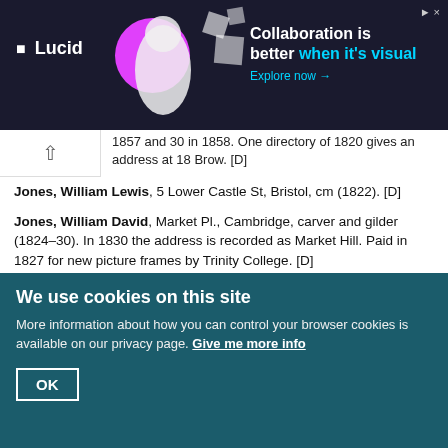[Figure (other): Lucid advertisement banner: 'Collaboration is better when it's visual. Explore now →' with decorative figure and magenta circle on dark background.]
1857 and 30 in 1858. One directory of 1820 gives an address at 18 Brow. [D]
Jones, William Lewis, 5 Lower Castle St, Bristol, cm (1822). [D]
Jones, William David, Market Pl., Cambridge, carver and gilder (1824–30). In 1830 the address is recorded as Market Hill. Paid in 1827 for new picture frames by Trinity College. [D]
Jones, William, Liverpool, cm (1834–35). At 15 Dryden St in 1834 and 3 Prescott St in 1835. [D]
Jones, William, Cirencester, Glos., carver and gilder (1827–29). Children bapt. in 1827 and 1829. [PR (bapt.)]
Jones, William, Liverpool, carver (1828–39). Born 14 May 1807, son of Hugh Jones, cm. Free by patrimony in 1828. Took app. named Alexander Wells, 1829–39. [Freemen's committee bk]
We use cookies on this site
More information about how you can control your browser cookies is available on our privacy page. Give me more info
OK